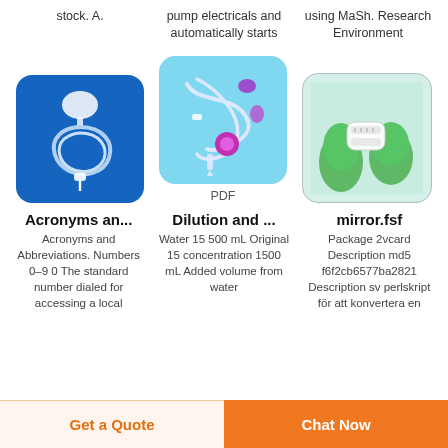stock. A.
pump electricals and automatically starts
using MaSh. Research Environment
[Figure (photo): IV drip set / infusion tubing coiled on blue background]
[Figure (photo): Medical tubing and connector components on light blue background]
PDF
[Figure (photo): Gloved hands holding a white medical filter/connector device]
Acronyms an...
Dilution and ...
mirror.fsf
Acronyms and Abbreviations. Numbers 0–9 0 The standard number dialed for accessing a local
Water 15 500 mL Original 15 concentration 1500 mL Added volume from water
Package 2vcard Description md5 f6f2cb6577ba2821 Description sv perlskript för att konvertera en